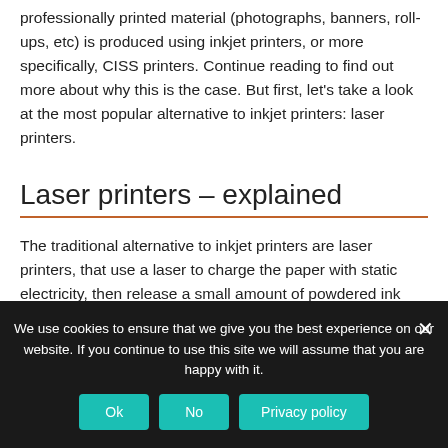professionally printed material (photographs, banners, roll-ups, etc) is produced using inkjet printers, or more specifically, CISS printers. Continue reading to find out more about why this is the case. But first, let's take a look at the most popular alternative to inkjet printers: laser printers.
Laser printers – explained
The traditional alternative to inkjet printers are laser printers, that use a laser to charge the paper with static electricity, then release a small amount of powdered ink called toner, which sticks to the
We use cookies to ensure that we give you the best experience on our website. If you continue to use this site we will assume that you are happy with it.